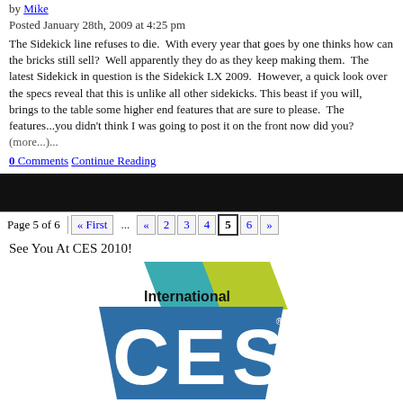by Mike
Posted January 28th, 2009 at 4:25 pm
The Sidekick line refuses to die. With every year that goes by one thinks how can the bricks still sell? Well apparently they do as they keep making them. The latest Sidekick in question is the Sidekick LX 2009. However, a quick look over the specs reveal that this is unlike all other sidekicks. This beast if you will, brings to the table some higher end features that are sure to please. The features...you didn't think I was going to post it on the front now did you? (more...)...
0 Comments  Continue Reading
[Figure (other): Black banner/advertisement bar]
Page 5 of 6  « First  ...  «  2  3  4  5  6  »
See You At CES 2010!
[Figure (logo): International CES logo with teal, blue, and green geometric shapes and white CES lettering]